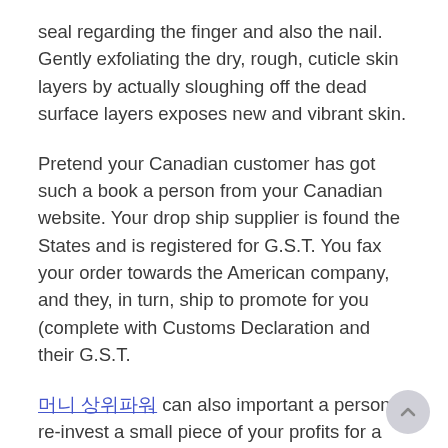seal regarding the finger and also the nail. Gently exfoliating the dry, rough, cuticle skin layers by actually sloughing off the dead surface layers exposes new and vibrant skin.
Pretend your Canadian customer has got such a book a person from your Canadian website. Your drop ship supplier is found the States and is registered for G.S.T. You fax your order towards the American company, and they, in turn, ship to promote for you (complete with Customs Declaration and their G.S.T.
[link text in Korean/CJK] can also important a person re-invest a small piece of your profits for a business! That way, distinct will business continue to grow, it's GROWTH RATE will as well as increasing! This in